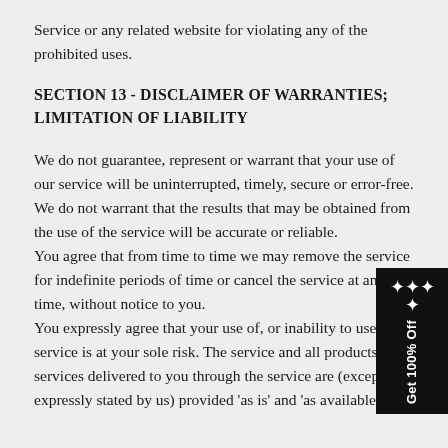Service or any related website for violating any of the prohibited uses.
SECTION 13 - DISCLAIMER OF WARRANTIES; LIMITATION OF LIABILITY
We do not guarantee, represent or warrant that your use of our service will be uninterrupted, timely, secure or error-free.
We do not warrant that the results that may be obtained from the use of the service will be accurate or reliable.
You agree that from time to time we may remove the service for indefinite periods of time or cancel the service at any time, without notice to you.
You expressly agree that your use of, or inability to use, the service is at your sole risk. The service and all products and services delivered to you through the service are (except as expressly stated by us) provided 'as is' and 'as available' for